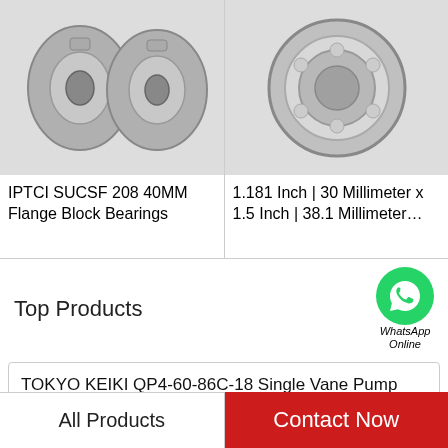[Figure (photo): IPTCI SUCSF 208 40MM Flange Block Bearings - two metallic flange block bearings shown on white/light background]
IPTCI SUCSF 208 40MM Flange Block Bearings
[Figure (photo): 1.181 Inch | 30 Millimeter x 1.5 Inch | 38.1 Millimeter... - single round ball bearing shown on white background]
1.181 Inch | 30 Millimeter x 1.5 Inch | 38.1 Millimeter...
Top Products
TOKYO KEIKI QP4-60-86C-18 Single Vane Pump
DAIKIN VZ80C44RHX-10 VZ80 Series Piston Pump
DODGE CYL-SC-014 Cartridge part Bearings
All Products
Contact Now